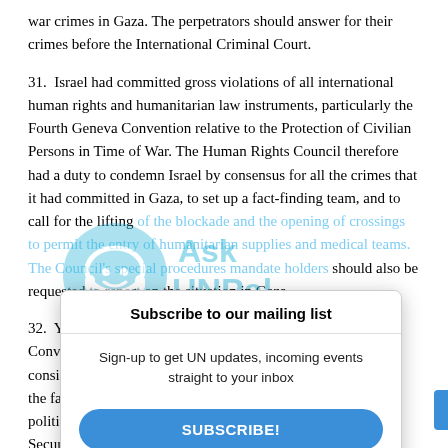war crimes in Gaza. The perpetrators should answer for their crimes before the International Criminal Court.
31. Israel had committed gross violations of all international human rights and humanitarian law instruments, particularly the Fourth Geneva Convention relative to the Protection of Civilian Persons in Time of War. The Human Rights Council therefore had a duty to condemn Israel by consensus for all the crimes that it had committed in Gaza, to set up a fact-finding team, and to call for the lifting of the blockade and the opening of crossings to permit the entry of humanitarian supplies and medical teams. The Council's special procedures mandate holders should also be requested to report on the situation in Gaza.
32. Yemen called [partially obscured] Convention, to consider the flag[partially obscured] the face of the o[partially obscured] political conside[partially obscured] Security Counci[partially obscured]
33. Ms. JOHAN[partially obscured] Nations Office o[partially obscured]
[Figure (infographic): AskUNPal watermark logo overlay on text - circular logo with headphone icon and text 'Ask UNPal']
[Figure (infographic): Subscribe to our mailing list popup overlay with title 'Subscribe to our mailing list', body text 'Sign-up to get UN updates, incoming events straight to your inbox', a blue SUBSCRIBE! button, and footer text 'You can unsubscribe anytime']